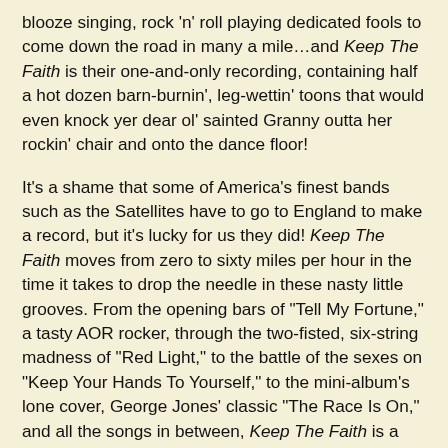blooze singing, rock 'n' roll playing dedicated fools to come down the road in many a mile…and Keep The Faith is their one-and-only recording, containing half a hot dozen barn-burnin', leg-wettin' toons that would even knock yer dear ol' sainted Granny outta her rockin' chair and onto the dance floor!
It's a shame that some of America's finest bands such as the Satellites have to go to England to make a record, but it's lucky for us they did! Keep The Faith moves from zero to sixty miles per hour in the time it takes to drop the needle in these nasty little grooves. From the opening bars of "Tell My Fortune," a tasty AOR rocker, through the two-fisted, six-string madness of "Red Light," to the battle of the sexes on "Keep Your Hands To Yourself," to the mini-album's lone cover, George Jones' classic "The Race Is On," and all the songs in between, Keep The Faith is a swamp-licking, roots-inspired hellbroth of a rock 'n' roll album, a nuclear-tipped aural missile fired at your sensory circuits like sharks on a feeding frenzy. Closer akin to the early Stones, the Faces, and the art of Chuck Berry, the Georgia Satellites have drunk from the well from which rock 'n' roll sprang some 30